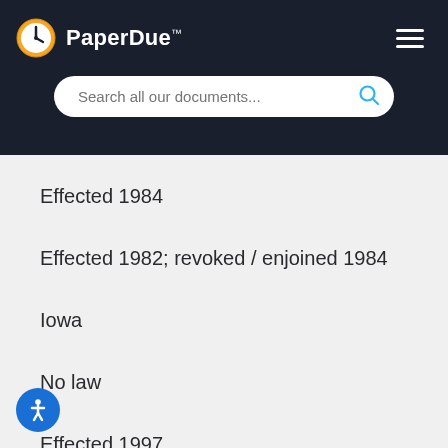[Figure (logo): PaperDue logo with clock icon and brand name]
Effected 1984
Effected 1982; revoked / enjoined 1984
Iowa
No law
Effected 1997